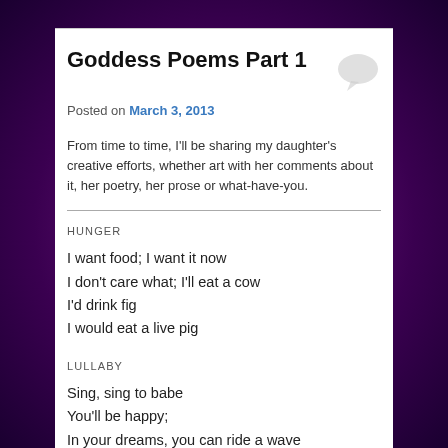Goddess Poems Part 1
Posted on March 3, 2013
From time to time, I'll be sharing my daughter's creative efforts, whether art with her comments about it, her poetry, her prose or what-have-you.
HUNGER
I want food; I want it now
I don't care what; I'll eat a cow
I'd drink fig
I would eat a live pig
LULLABY
Sing, sing to babe
You'll be happy;
In your dreams, you can ride a wave